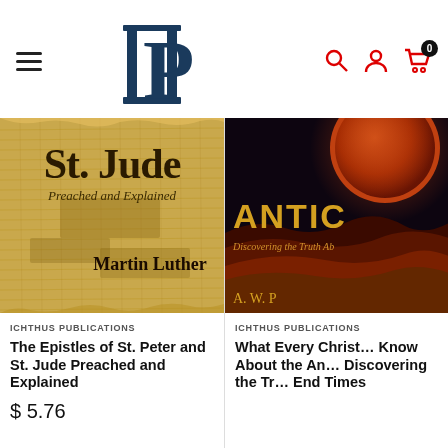Pillar Publications — navigation header with logo, hamburger menu, search, account, and cart icons
[Figure (photo): Book cover: 'St. Jude Preached and Explained' by Martin Luther, papyrus texture background with dark text]
ICHTHUS PUBLICATIONS
The Epistles of St. Peter and St. Jude Preached and Explained
$ 5.76
[Figure (photo): Book cover: 'ANTICHRIST — Discovering the Truth About the End Times' by A. W. P..., dark orange/red fiery sky with planet and cross]
ICHTHUS PUBLICATIONS
What Every Christian Should Know About the Antichrist: Discovering the Truth About the End Times